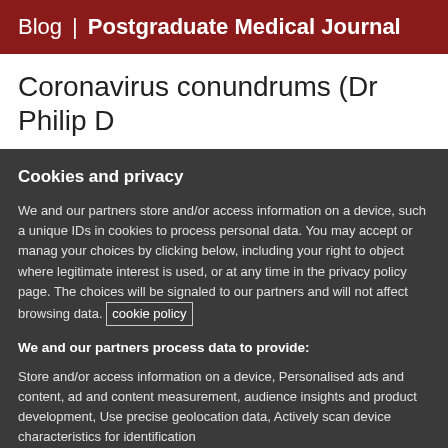Blog | Postgraduate Medical Journal
Coronavirus conundrums (Dr Philip D
Cookies and privacy
We and our partners store and/or access information on a device, such a unique IDs in cookies to process personal data. You may accept or manag your choices by clicking below, including your right to object where legitimate interest is used, or at any time in the privacy policy page. The choices will be signaled to our partners and will not affect browsing data. Cookie policy
We and our partners process data to provide:
Store and/or access information on a device, Personalised ads and content, ad and content measurement, audience insights and product development, Use precise geolocation data, Actively scan device characteristics for identification
List of Partners (vendors)